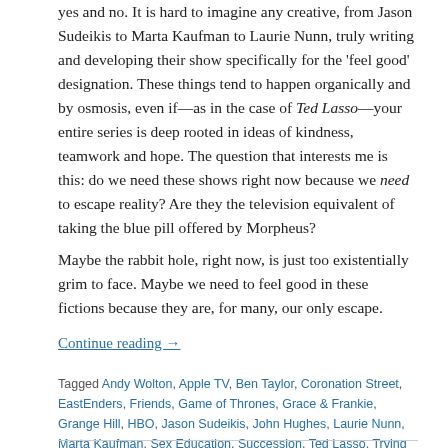yes and no. It is hard to imagine any creative, from Jason Sudeikis to Marta Kaufman to Laurie Nunn, truly writing and developing their show specifically for the 'feel good' designation. These things tend to happen organically and by osmosis, even if—as in the case of Ted Lasso—your entire series is deep rooted in ideas of kindness, teamwork and hope. The question that interests me is this: do we need these shows right now because we need to escape reality? Are they the television equivalent of taking the blue pill offered by Morpheus?
Maybe the rabbit hole, right now, is just too existentially grim to face. Maybe we need to feel good in these fictions because they are, for many, our only escape.
Continue reading →
Tagged Andy Wolton, Apple TV, Ben Taylor, Coronation Street, EastEnders, Friends, Game of Thrones, Grace & Frankie, Grange Hill, HBO, Jason Sudeikis, John Hughes, Laurie Nunn, Marta Kaufman, Sex Education, Succession, Ted Lasso, Trying
Leave a comment